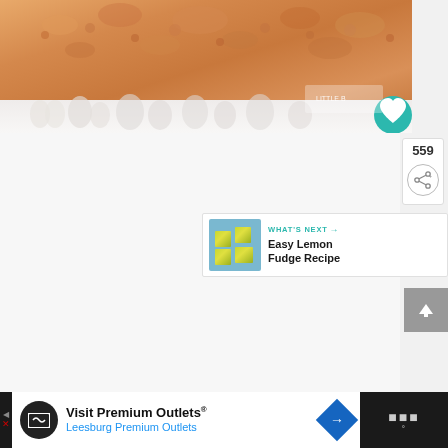[Figure (photo): Close-up photo of golden-brown rice crispy treat or similar cereal bar on a decorative white plate with floral embossed pattern. Teal heart save button overlaid in corner. Watermark/logo in lower right of photo area.]
559
[Figure (infographic): Share icon (network/share symbol) in a circle button]
[Figure (photo): What's Next panel with thumbnail photo of Easy Lemon Fudge Recipe - yellow lemon fudge squares on blue background]
WHAT'S NEXT → Easy Lemon Fudge Recipe
[Figure (infographic): Scroll to top arrow button in grey]
[Figure (infographic): Advertisement bar at bottom: Visit Premium Outlets® Leesburg Premium Outlets with circular logo, navigation icon, and site logo]